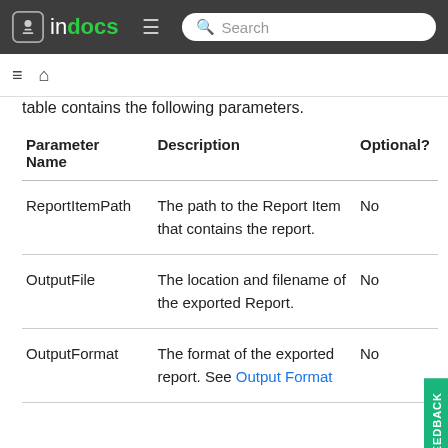indocs | Search
table contains the following parameters.
| Parameter Name | Description | Optional? |
| --- | --- | --- |
| ReportItemPath | The path to the Report Item that contains the report. | No |
| OutputFile | The location and filename of the exported Report. | No |
| OutputFormat | The format of the exported report. See Output Format | No |